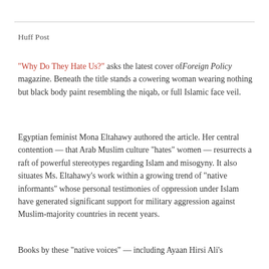Huff Post
“Why Do They Hate Us?” asks the latest cover of Foreign Policy magazine. Beneath the title stands a cowering woman wearing nothing but black body paint resembling the niqab, or full Islamic face veil.
Egyptian feminist Mona Eltahawy authored the article. Her central contention — that Arab Muslim culture “hates” women — resurrects a raft of powerful stereotypes regarding Islam and misogyny. It also situates Ms. Eltahawy’s work within a growing trend of “native informants” whose personal testimonies of oppression under Islam have generated significant support for military aggression against Muslim-majority countries in recent years.
Books by these “native voices” — including Ayaan Hirsi Ali’s